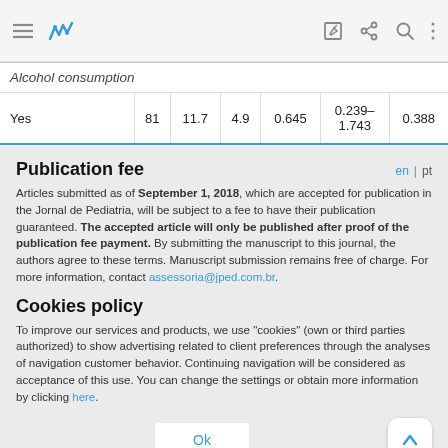Browser navigation bar with menu, logo, edit, share, search, and more icons
| Alcohol consumption |  |  |  |  |  |  |
| Yes | 81 | 11.7 | 4.9 | 0.645 | 0.239–1.743 | 0.388 |
Publication fee
Articles submitted as of September 1, 2018, which are accepted for publication in the Jornal de Pediatria, will be subject to a fee to have their publication guaranteed. The accepted article will only be published after proof of the publication fee payment. By submitting the manuscript to this journal, the authors agree to these terms. Manuscript submission remains free of charge. For more information, contact assessoria@jped.com.br.
Cookies policy
To improve our services and products, we use "cookies" (own or third parties authorized) to show advertising related to client preferences through the analyses of navigation customer behavior. Continuing navigation will be considered as acceptance of this use. You can change the settings or obtain more information by clicking here.